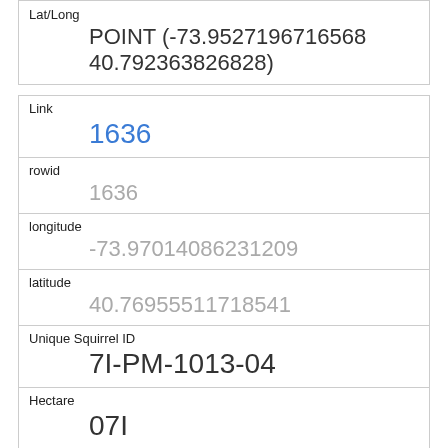| Field | Value |
| --- | --- |
| Lat/Long | POINT (-73.9527196716568 40.792363826828) |
| Link | 1636 |
| rowid | 1636 |
| longitude | -73.97014086231209 |
| latitude | 40.76955511718541 |
| Unique Squirrel ID | 7I-PM-1013-04 |
| Hectare | 07I |
| Shift | PM |
| Date | 10132018 |
| Hectare Squirrel Number |  |